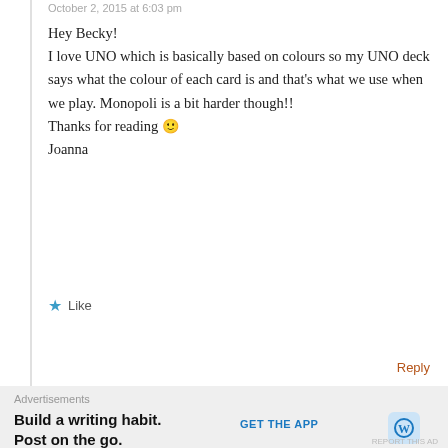October 2, 2015 at 6:03 pm
Hey Becky!
I love UNO which is basically based on colours so my UNO deck says what the colour of each card is and that's what we use when we play. Monopoli is a bit harder though!!
Thanks for reading 🙂
Joanna
★ Like
Reply
Advertisements
[Figure (other): WordPress VIP advertisement banner with orange gradient and Learn more button]
Advertisements
Build a writing habit. Post on the go.
GET THE APP
REPORT THIS AD